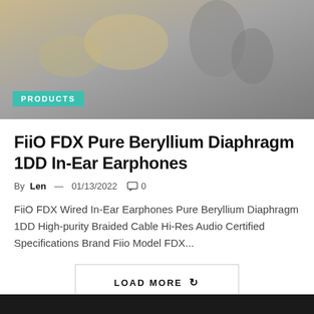[Figure (photo): Product photo of FiiO earphones/in-ear monitors on dark background]
PRODUCTS
FiiO FDX Pure Beryllium Diaphragm 1DD In-Ear Earphones
By Len — 01/13/2022 ◯ 0
FiiO FDX Wired In-Ear Earphones Pure Beryllium Diaphragm 1DD High-purity Braided Cable Hi-Res Audio Certified Specifications Brand Fiio Model FDX...
LOAD MORE ↺